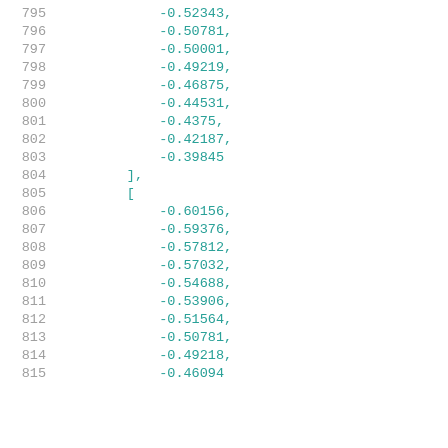795   -0.52343,
796   -0.50781,
797   -0.50001,
798   -0.49219,
799   -0.46875,
800   -0.44531,
801   -0.4375,
802   -0.42187,
803   -0.39845
804   ],
805   [
806   -0.60156,
807   -0.59376,
808   -0.57812,
809   -0.57032,
810   -0.54688,
811   -0.53906,
812   -0.51564,
813   -0.50781,
814   -0.49218,
815   -0.46094